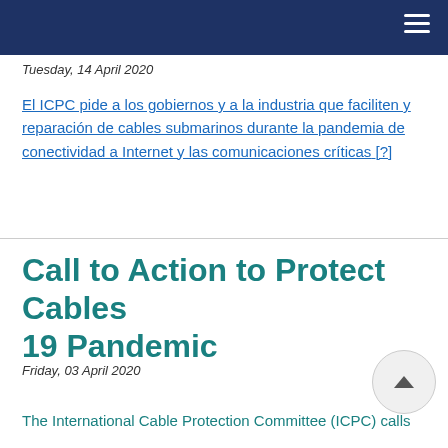Tuesday, 14 April 2020
El ICPC pide a los gobiernos y a la industria que faciliten y reparación de cables submarinos durante la pandemia de conectividad a Internet y las comunicaciones críticas [?]
Call to Action to Protect Cables 19 Pandemic
Friday, 03 April 2020
The International Cable Protection Committee (ICPC) calls